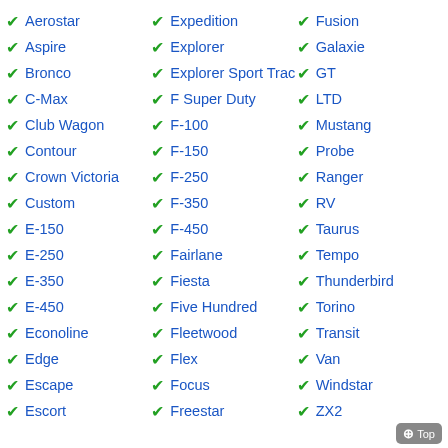Aerostar
Aspire
Bronco
C-Max
Club Wagon
Contour
Crown Victoria
Custom
E-150
E-250
E-350
E-450
Econoline
Edge
Escape
Escort
Expedition
Explorer
Explorer Sport Trac
F Super Duty
F-100
F-150
F-250
F-350
F-450
Fairlane
Fiesta
Five Hundred
Fleetwood
Flex
Focus
Freestar
Fusion
Galaxie
GT
LTD
Mustang
Probe
Ranger
RV
Taurus
Tempo
Thunderbird
Torino
Transit
Van
Windstar
ZX2